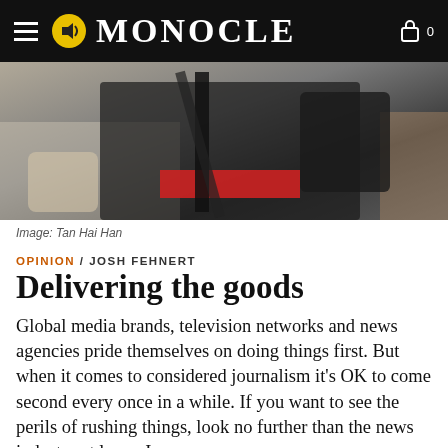MONOCLE
[Figure (photo): A person carrying camera equipment including a tripod and bags, wearing a red accessory around their waist, photographed from behind in a public space.]
Image: Tan Hai Han
OPINION / JOSH FEHNERT
Delivering the goods
Global media brands, television networks and news agencies pride themselves on doing things first. But when it comes to considered journalism it's OK to come second every once in a while. If you want to see the perils of rushing things, look no further than the news industry at large. In